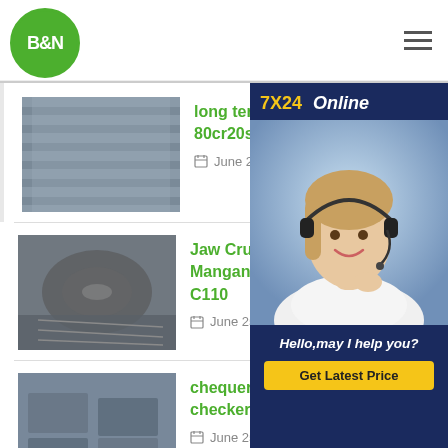[Figure (logo): B&N green circular logo]
[Figure (photo): Steel plates in a factory/warehouse]
long term export no 4 plate 80cr20si2ni
June 25, 2021
[Figure (photo): Coiled manganese steel strips]
Jaw Crusher Spare Parts Manganese Steel Cheek Plate C110
June 25, 2021
[Figure (photo): Chequered steel plates stacked in warehouse]
chequered plates steel checkered plates q235b
June 25, 2021
[Figure (photo): 7X24 Online chat agent — woman with headset smiling. Hello, may I help you? Get Latest Price button.]